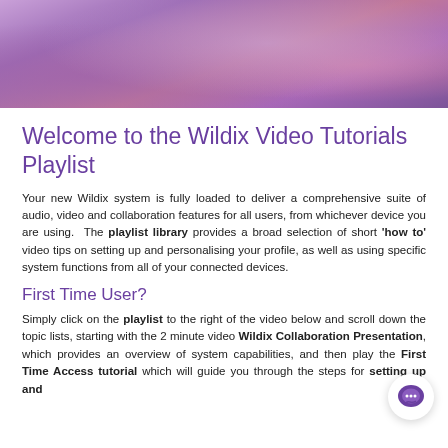[Figure (photo): Banner photo of people, purple and pink tones]
Welcome to the Wildix Video Tutorials Playlist
Your new Wildix system is fully loaded to deliver a comprehensive suite of audio, video and collaboration features for all users, from whichever device you are using.  The playlist library provides a broad selection of short ‘how to’ video tips on setting up and personalising your profile, as well as using specific system functions from all of your connected devices.
First Time User?
Simply click on the playlist to the right of the video below and scroll down the topic lists, starting with the 2 minute video Wildix Collaboration Presentation, which provides an overview of system capabilities, and then play the First Time Access tutorial which will guide you through the steps for setting up and